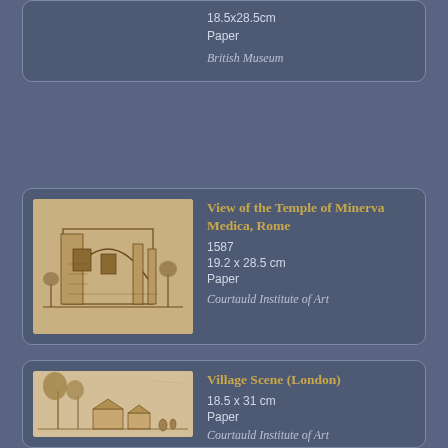18.5x28.5cm
Paper
British Museum
[Figure (illustration): Sketch/drawing of a ruined Roman building, the Temple of Minerva Medica, brown ink on paper]
View of the Temple of Minerva Medica, Rome
1587
19.2 x 28.5 cm
Paper
Courtauld Institute of Art
[Figure (illustration): Sketch/drawing of a village scene with trees and figures, brown ink on paper]
Village Scene (London)
18.5 x 31 cm
Paper
Courtauld Institute of Art